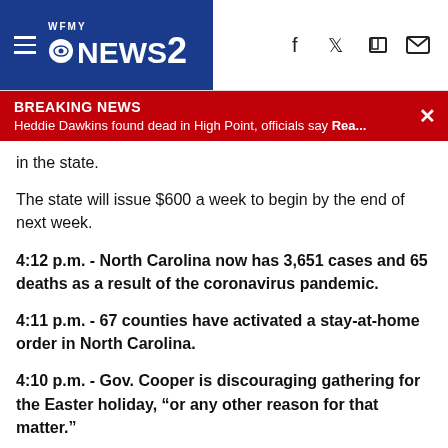WFMY NEWS 2
BREAKING NEWS – Heddie Dawkins found dead in High Point, officials say Rea...
in the state.
The state will issue $600 a week to begin by the end of next week.
4:12 p.m. - North Carolina now has 3,651 cases and 65 deaths as a result of the coronavirus pandemic.
4:11 p.m. - 67 counties have activated a stay-at-home order in North Carolina.
4:10 p.m. - Gov. Cooper is discouraging gathering for the Easter holiday, “or any other reason for that matter.”
Gov. Cooper thanked places of worship for holding services online or in households
4:06 p.m. - North Carolina Gov. Roy Cooper announces